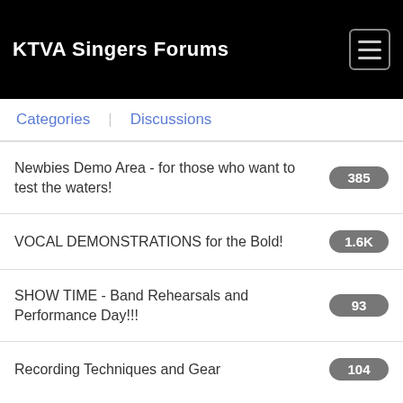KTVA Singers Forums
Categories
Discussions
Newbies Demo Area - for those who want to test the waters! 385
VOCAL DEMONSTRATIONS for the Bold! 1.6K
SHOW TIME - Band Rehearsals and Performance Day!!! 93
Recording Techniques and Gear 104
Musical Gear and Equipment!!! 103
The Singer's Lobby 233
About Ken Tamplin Vocal Academy 104